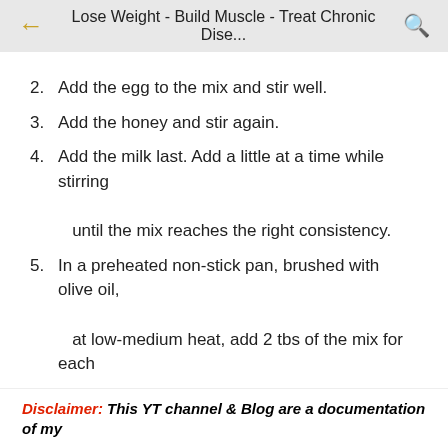Lose Weight - Build Muscle - Treat Chronic Dise...
2. Add the egg to the mix and stir well.
3. Add the honey and stir again.
4. Add the milk last. Add a little at a time while stirring until the mix reaches the right consistency.
5. In a preheated non-stick pan, brushed with olive oil, at low-medium heat, add 2 tbs of the mix for each pancake.
6. Flip it over to cook the other side.
Disclaimer: This YT channel & Blog are a documentation of my